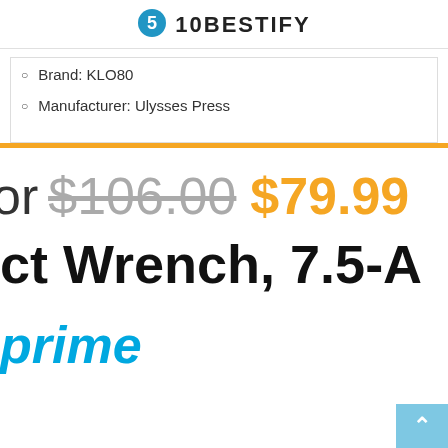10BESTIFY
Brand: KLO80
Manufacturer: Ulysses Press
or $106.00 $79.99
ct Wrench, 7.5-A
prime